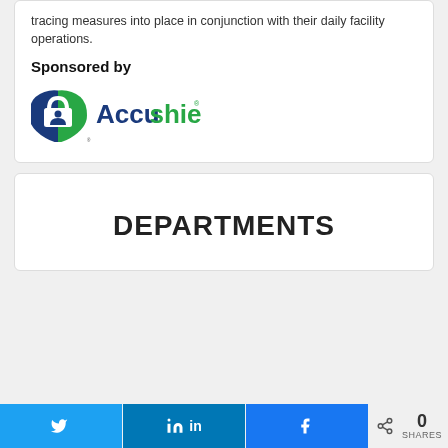tracing measures into place in conjunction with their daily facility operations.
Sponsored by
[Figure (logo): Accushield logo — a padlock icon in blue and green with the word 'Accushield' in dark blue and green lettering]
DEPARTMENTS
0 SHARES — share buttons for Twitter, LinkedIn, Facebook